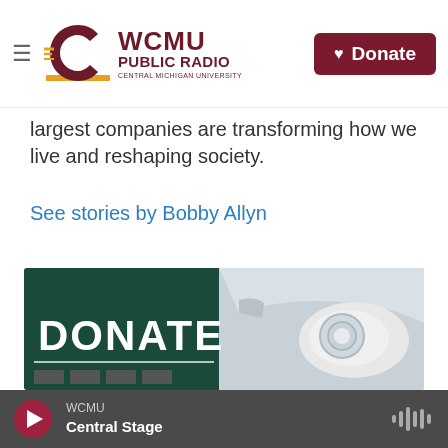WCMU PUBLIC RADIO — Central Michigan University | Donate
largest companies are transforming how we live and reshaping society.
See stories by Bobby Allyn
[Figure (photo): A green sign reading DONATE with partial text below, next to a silver car's headlight area]
WCMU — Central Stage (audio player)